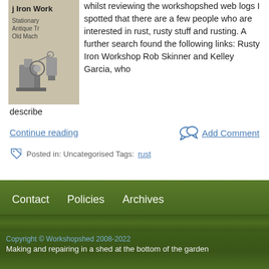[Figure (illustration): Partial image of a book cover showing 'j Iron Work' text, an illustration of antique machinery, and text 'Stationary', 'Antique Tr', 'Old Mach']
whilst reviewing the workshopshed web logs I spotted that there are a few people who are interested in rust, rusty stuff and rusting. A further search found the following links: Rusty Iron Workshop Rob Skinner and Kelley Garcia, who describe
Continue reading
Add Comment
Posted in: Uncategorised Tags: rust
Contact   Policies   Archives
Copyright © Workshopshed 2008-2022
Making and repairing in a shed at the bottom of the garden